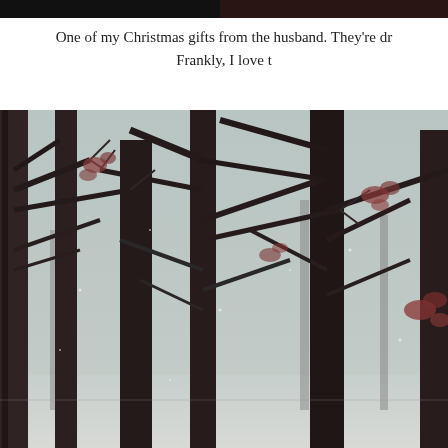[Figure (photo): Dark photo strip at the very top of the page, partially visible, appears to show a dark background.]
One of my Christmas gifts from the husband. They're dr Frankly, I love t
[Figure (photo): A winter scene photograph showing bare dark tree trunks and branches with some dried red/brown leaves still clinging, set against a misty foggy background with snow on the ground. The image has a vintage, slightly desaturated color treatment.]